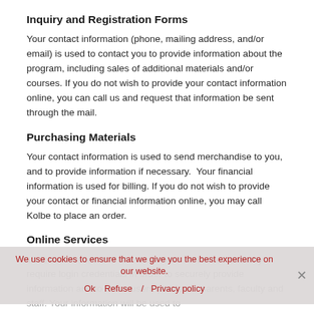Inquiry and Registration Forms
Your contact information (phone, mailing address, and/or email) is used to contact you to provide information about the program, including sales of additional materials and/or courses. If you do not wish to provide your contact information online, you can call us and request that information be sent through the mail.
Purchasing Materials
Your contact information is used to send merchandise to you, and to provide information if necessary.  Your financial information is used for billing. If you do not wish to provide your contact or financial information online, you may call Kolbe to place an order.
Online Services
Various websites and online services on Kolbe Academy require login credentials in order to securely provide information and to serve users (students, parents, faculty and staff. Your information will be used to
We use cookies to ensure that we give you the best experience on our website.